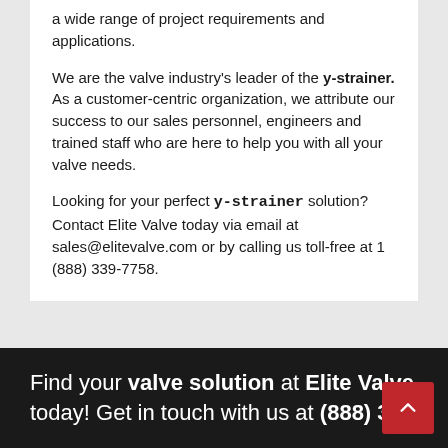a wide range of project requirements and applications.
We are the valve industry's leader of the y-strainer. As a customer-centric organization, we attribute our success to our sales personnel, engineers and trained staff who are here to help you with all your valve needs.
Looking for your perfect y-strainer solution? Contact Elite Valve today via email at sales@elitevalve.com or by calling us toll-free at 1 (888) 339-7758.
Find your valve solution at Elite Valve today! Get in touch with us at (888) 3...